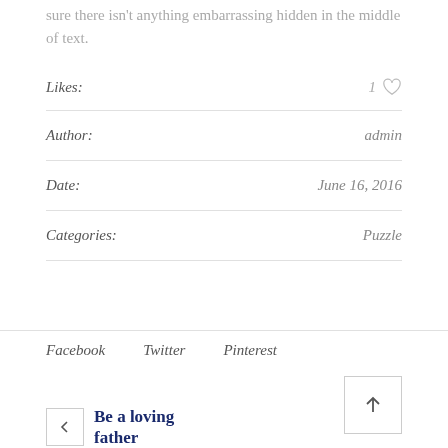sure there isn't anything embarrassing hidden in the middle of text.
Likes: 1
Author: admin
Date: June 16, 2016
Categories: Puzzle
Facebook   Twitter   Pinterest
Be a loving father